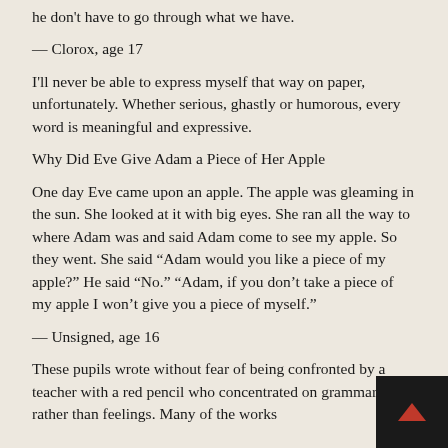he don't have to go through what we have.
— Clorox, age 17
I'll never be able to express myself that way on paper, unfortunately. Whether serious, ghastly or humorous, every word is meaningful and expressive.
Why Did Eve Give Adam a Piece of Her Apple
One day Eve came upon an apple. The apple was gleaming in the sun. She looked at it with big eyes. She ran all the way to where Adam was and said Adam come to see my apple. So they went. She said “Adam would you like a piece of my apple?” He said “No.” “Adam, if you don’t take a piece of my apple I won’t give you a piece of myself.”
— Unsigned, age 16
These pupils wrote without fear of being confronted by a teacher with a red pencil who concentrated on grammar rather than feelings. Many of the works